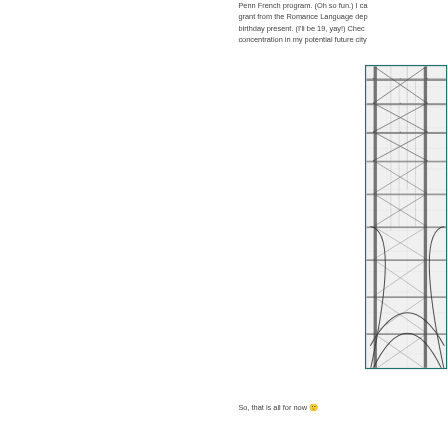Penn French program. (Oh so fun.) I can grant from the Romance Language dep birthday present. (I'll be 19, yay!) Chec concentration in my potential future city
[Figure (photo): Black and white close-up photograph of the Eiffel Tower structural ironwork and engineering blueprint/schematic overlay, showing the lattice metalwork, arches, and diagonal supports with blueprint grid lines.]
So, that is all for now 🙂